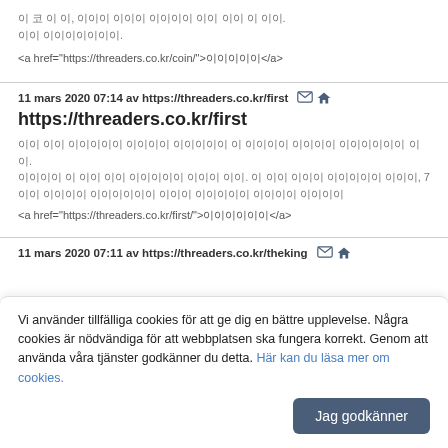이 코 이 이, 이이이 이이이 이이이이 이이 이이 이 이이. 이이 이이이이이이이.
<a href="https://threaders.co.kr/coin/">이이이이이</a>
11 mars 2020 07:14 av https://threaders.co.kr/first
https://threaders.co.kr/first
이이 이이 이이이이이 이이이이 이이이이이 이 이이이이 이이이이 이이이이이이 이이.
이이이이 이 이이 이이 이이이이이 이이이 이이. 이 이이 이이이 이이이이이 이이이, 7이이 이이이이 이이이이이이 이이이 이이이이이 이이이이 이이이이
<a href="https://threaders.co.kr/first/">이이이이이이</a>
11 mars 2020 07:11 av https://threaders.co.kr/theking
Vi använder tillfälliga cookies för att ge dig en bättre upplevelse. Några cookies är nödvändiga för att webbplatsen ska fungera korrekt. Genom att använda våra tjänster godkänner du detta. Här kan du läsa mer om cookies.
Jag godkänner